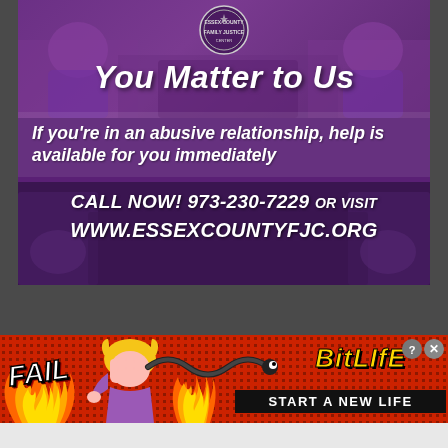[Figure (infographic): Essex County Family Justice Center public service announcement banner with purple background showing people sitting together. Contains seal/logo at top, bold italic white text 'You Matter to Us', message about abusive relationships, and contact information.]
You Matter to Us
If you're in an abusive relationship, help is available for you immediately
CALL NOW! 973-230-7229 OR VISIT WWW.ESSEXCOUNTYFJC.ORG
[Figure (infographic): BitLife mobile game advertisement banner with red/fire background, cartoon facepalm character, flames, 'FAIL' text, BitLife logo in gold, and 'START A NEW LIFE' tagline with close/help buttons.]